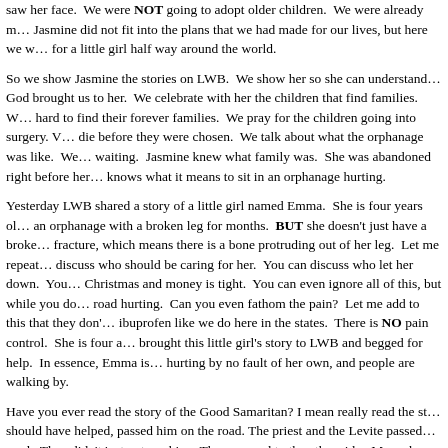saw her face.  We were NOT going to adopt older children.  We were already m... Jasmine did not fit into the plans that we had made for our lives, but here we w... for a little girl half way around the world.
So we show Jasmine the stories on LWB.  We show her so she can understand... God brought us to her.  We celebrate with her the children that find families.  W... hard to find their forever families.  We pray for the children going into surgery. V... die before they were chosen.  We talk about what the orphanage was like.  We... waiting.  Jasmine knew what family was.  She was abandoned right before her... knows what it means to sit in an orphanage hurting.
Yesterday LWB shared a story of a little girl named Emma.  She is four years ol... an orphanage with a broken leg for months.  BUT she doesn't just have a broke... fracture, which means there is a bone protruding out of her leg.  Let me repeat... discuss who should be caring for her.  You can discuss who let her down.  You... Christmas and money is tight.  You can even ignore all of this, but while you do... road hurting.  Can you even fathom the pain?  Let me add to this that they don'... ibuprofen like we do here in the states.  There is NO pain control.  She is four a... brought this little girl's story to LWB and begged for help.  In essence, Emma is... hurting by no fault of her own, and people are walking by.
Have you ever read the story of the Good Samaritan? I mean really read the st... should have helped, passed him on the road. The priest and the Levite passed... road.  They didn't just not see him.  They crossed to the other side.  Men who st...